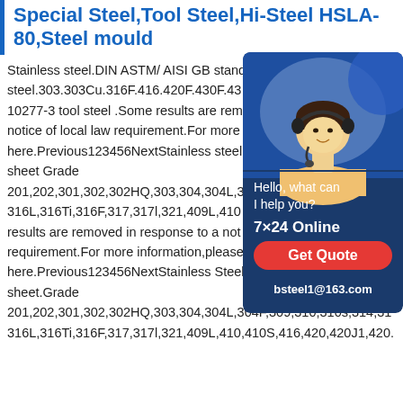Special Steel,Tool Steel,Hi-Steel HSLA-80,Steel mould
Stainless steel.DIN ASTM/ AISI GB stand steel.303.303Cu.316F.416.420F.430F.43 10277-3 tool steel .Some results are rem notice of local law requirement.For more here.Previous123456NextStainless steel sheet Grade 201,202,301,302,302HQ,303,304,304L,3 316L,316Ti,316F,317,317l,321,409L,410 results are removed in response to a not requirement.For more information,please see here.Previous123456NextStainless Steel SheetStainless steel sheet.Grade 201,202,301,302,302HQ,303,304,304L,304F,309,310,310s,314,31 316L,316Ti,316F,317,317l,321,409L,410,410S,416,420,420J1,420.
[Figure (other): Chat widget showing a customer service representative with headset, text 'Hello, what can I help you?', '7×24 Online', a red 'Get Quote' button, and email 'bsteel1@163.com' on a dark blue background.]